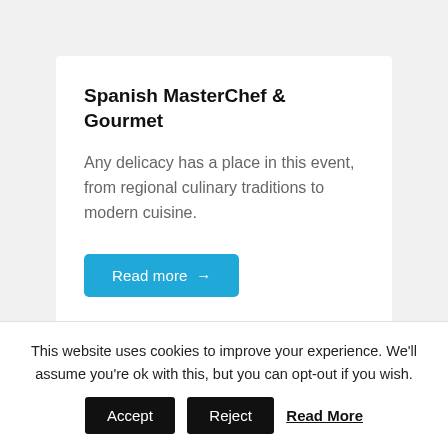Spanish MasterChef & Gourmet
Any delicacy has a place in this event, from regional culinary traditions to modern cuisine.
Read more →
« Previous  1  2  3  4  5  Next »
This website uses cookies to improve your experience. We'll assume you're ok with this, but you can opt-out if you wish.
Accept  Reject  Read More